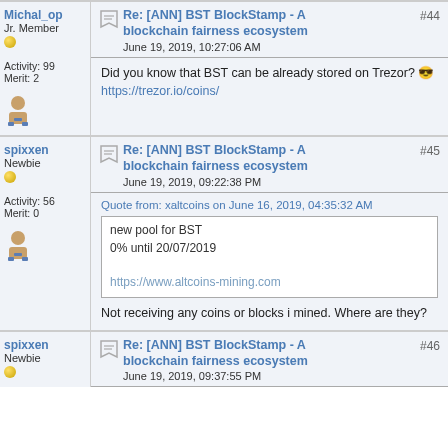Post #44 by Michal_op - Jr. Member - Activity: 99, Merit: 2 - Re: [ANN] BST BlockStamp - A blockchain fairness ecosystem - June 19, 2019, 10:27:06 AM - Did you know that BST can be already stored on Trezor? https://trezor.io/coins/
Post #45 by spixxen - Newbie - Activity: 56, Merit: 0 - Re: [ANN] BST BlockStamp - A blockchain fairness ecosystem - June 19, 2019, 09:22:38 PM - Quote from: xaltcoins on June 16, 2019, 04:35:32 AM - new pool for BST 0% until 20/07/2019 https://www.altcoins-mining.com - Not receiving any coins or blocks i mined. Where are they?
Post #46 by spixxen - Newbie - Re: [ANN] BST BlockStamp - A blockchain fairness ecosystem - June 19, 2019, 09:37:55 PM